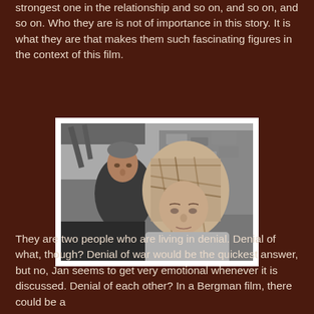strongest one in the relationship and so on, and so on, and so on. Who they are is not of importance in this story. It is what they are that makes them such fascinating figures in the context of this film.
[Figure (photo): Black and white film still showing two people: a man on the left looking toward the camera, and a woman on the right wearing a headscarf and looking downward, with stone ruins visible in the background.]
They are two people who are living in denial. Denial of what, though? Denial of war would be the quickest answer, but no, Jan seems to get very emotional whenever it is discussed. Denial of each other? In a Bergman film, there could be a